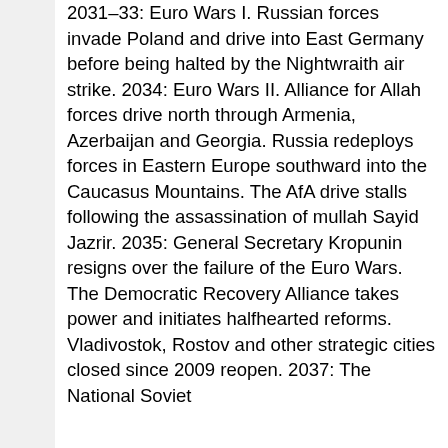2031–33: Euro Wars I. Russian forces invade Poland and drive into East Germany before being halted by the Nightwraith air strike. 2034: Euro Wars II. Alliance for Allah forces drive north through Armenia, Azerbaijan and Georgia. Russia redeploys forces in Eastern Europe southward into the Caucasus Mountains. The AfA drive stalls following the assassination of mullah Sayid Jazrir. 2035: General Secretary Kropunin resigns over the failure of the Euro Wars. The Democratic Recovery Alliance takes power and initiates halfhearted reforms. Vladivostok, Rostov and other strategic cities closed since 2009 reopen. 2037: The National Soviet